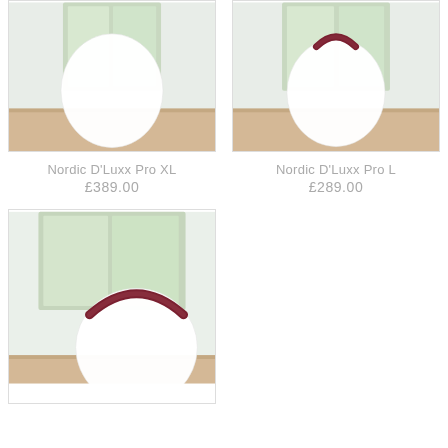[Figure (photo): White rounded lamp on wooden surface, photographed in front of a window. No handle visible.]
Nordic D'Luxx Pro XL
£389.00
[Figure (photo): White rounded lamp with dark leather handle on wooden surface, photographed in front of a window.]
Nordic D'Luxx Pro L
£289.00
[Figure (photo): White rounded lamp with dark leather/burgundy handle resting on wooden surface, closer view showing handle detail.]